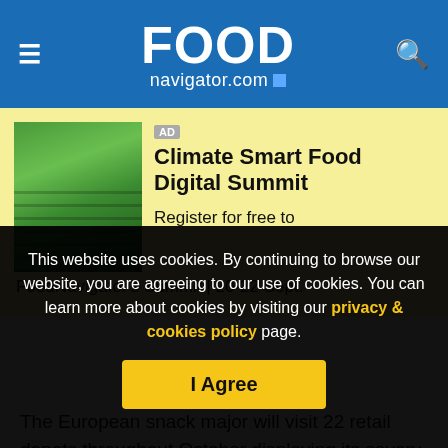FoodNavigator.com
[Figure (other): Advertisement banner for Climate Smart Food Digital Summit with image of green plant rows in a growing facility]
The European snack major will visit 22 retail depots throughout October displaying its savory snack options to
This website uses cookies. By continuing to browse our website, you are agreeing to our use of cookies. You can learn more about cookies by visiting our privacy & cookies policy page.
I Agree